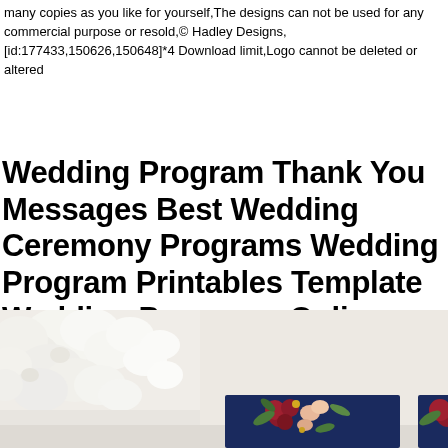many copies as you like for yourself,The designs can not be used for any commercial purpose or resold,© Hadley Designs, [id:177433,150626,150648]*4 Download limit,Logo cannot be deleted or altered
Wedding Program Thank You Messages Best Wedding Ceremony Programs Wedding Program Printables Template Wedding Programs Online Template
[Figure (photo): Photo showing white floral arrangement (chrysanthemums/peonies) on a light background with two navy blue wedding program cards featuring red and pink floral arrangements partially visible at the bottom]